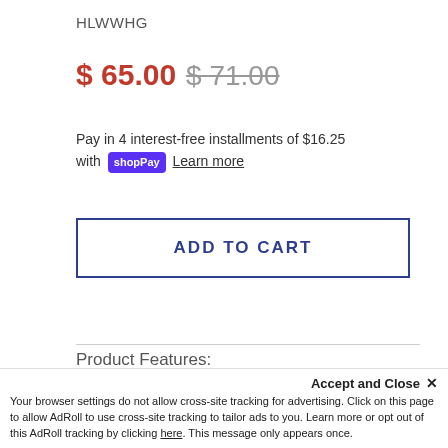HLWWHG
$ 65.00  $ 71.00
Pay in 4 interest-free installments of $16.25 with shopPay  Learn more
ADD TO CART
Product Features:
Accept and Close ×
Your browser settings do not allow cross-site tracking for advertising. Click on this page to allow AdRoll to use cross-site tracking to tailor ads to you. Learn more or opt out of this AdRoll tracking by clicking here. This message only appears once.